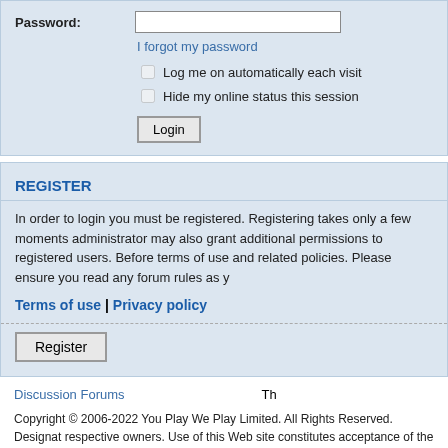Password:
I forgot my password
Log me on automatically each visit
Hide my online status this session
REGISTER
In order to login you must be registered. Registering takes only a few moments administrator may also grant additional permissions to registered users. Before terms of use and related policies. Please ensure you read any forum rules as y
Terms of use | Privacy policy
Register
Discussion Forums
Copyright © 2006-2022 You Play We Play Limited. All Rights Reserved. Designat respective owners. Use of this Web site constitutes acceptance of the You Play W
You must be 18 or over to play or claim a prize.
You Play We Play supports responsible gaming. Have fun but play it safe.
*Tickets allocated on a per play basis, syndicate sizes may vary upto a maximum size of 50. All ti
Parse Time:0.15701s IP:3.239.165.51